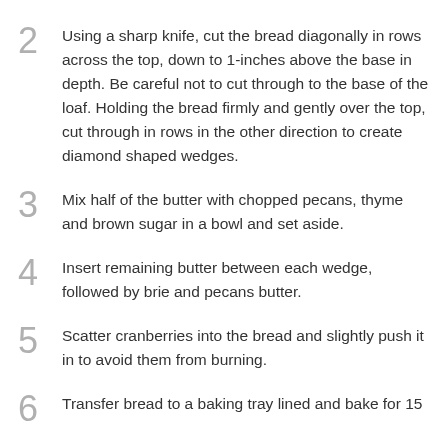2 Using a sharp knife, cut the bread diagonally in rows across the top, down to 1-inches above the base in depth. Be careful not to cut through to the base of the loaf. Holding the bread firmly and gently over the top, cut through in rows in the other direction to create diamond shaped wedges.
3 Mix half of the butter with chopped pecans, thyme and brown sugar in a bowl and set aside.
4 Insert remaining butter between each wedge, followed by brie and pecans butter.
5 Scatter cranberries into the bread and slightly push it in to avoid them from burning.
6 Transfer bread to a baking tray lined and bake for 15